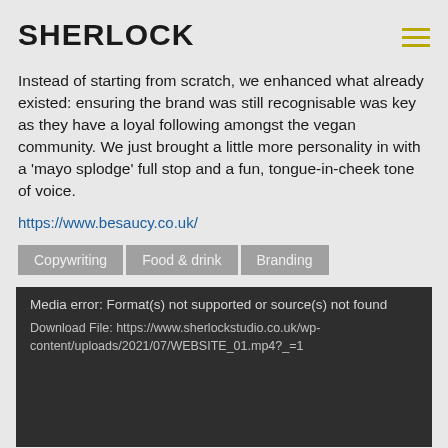SHERLOCK
Instead of starting from scratch, we enhanced what already existed: ensuring the brand was still recognisable was key as they have a loyal following amongst the vegan community. We just brought a little more personality in with a 'mayo splodge' full stop and a fun, tongue-in-cheek tone of voice.
https://www.besaucy.co.uk/
Copywriting
Food & drink
Branding
[Figure (screenshot): Media error box with dark background showing: 'Media error: Format(s) not supported or source(s) not found' and 'Download File: https://www.sherlockstudio.co.uk/wp-content/uploads/2021/07/WEBSITE_01.mp4?_=1']